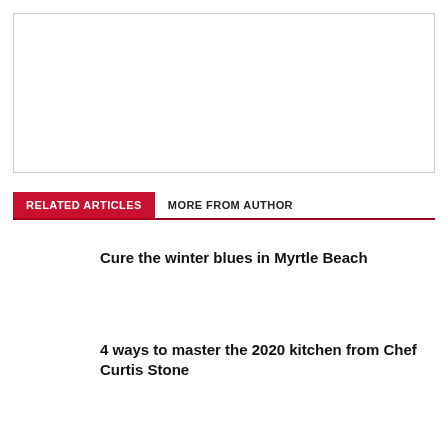[Figure (other): Empty white image placeholder with thin border]
RELATED ARTICLES  MORE FROM AUTHOR
Cure the winter blues in Myrtle Beach
4 ways to master the 2020 kitchen from Chef Curtis Stone